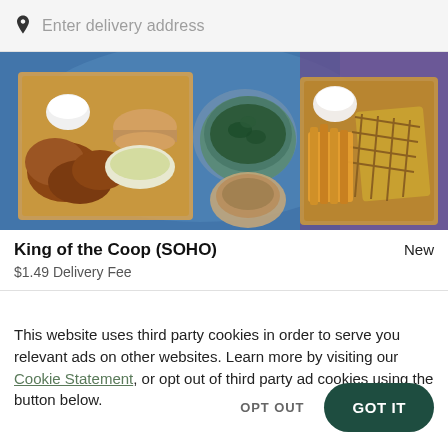Enter delivery address
[Figure (photo): Overhead photo of fried chicken meals in cardboard boxes with sides including coleslaw, greens, waffles, and dipping sauce on a blue cloth background]
King of the Coop (SOHO)
New
$1.49 Delivery Fee
This website uses third party cookies in order to serve you relevant ads on other websites. Learn more by visiting our Cookie Statement, or opt out of third party ad cookies using the button below.
OPT OUT
GOT IT